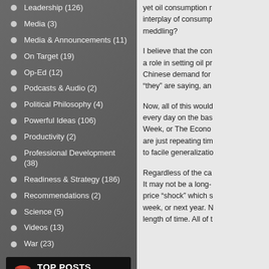Leadership (126)
Media (3)
Media & Announcements (11)
On Target (19)
Op-Ed (12)
Podcasts & Audio (2)
Political Philosophy (4)
Powerful Ideas (106)
Productivity (2)
Professional Development (38)
Readiness & Strategy (186)
Recommendations (2)
Science (5)
Videos (13)
War (23)
TOP POSTS
Put "troops to task"
The Three Levels of Leadership
Organizations Are Made Up of People
yet oil consumption r... interplay of consump... meddling?
I believe that the con... a role in setting oil pr... Chinese demand for... “they” are saying, an...
Now, all of this would... every day on the bas... Week, or The Econo... are just repeating tim... to facile generalizatio...
Regardless of the ca... It may not be a long-... price “shock” which s... week, or next year. N... length of time. All of t...